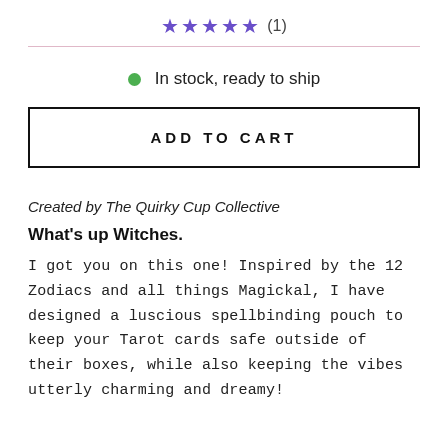★★★★★ (1)
In stock, ready to ship
ADD TO CART
Created by The Quirky Cup Collective
What's up Witches.
I got you on this one! Inspired by the 12 Zodiacs and all things Magickal, I have designed a luscious spellbinding pouch to keep your Tarot cards safe outside of their boxes, while also keeping the vibes utterly charming and dreamy!